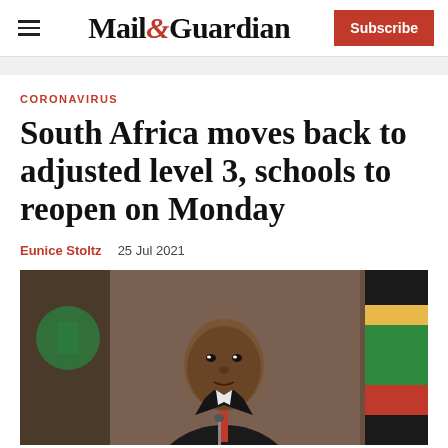Mail&Guardian | Subscribe
CORONAVIRUS
South Africa moves back to adjusted level 3, schools to reopen on Monday
Eunice Stoltz   25 Jul 2021
[Figure (photo): Photo of a man in a suit speaking at a podium with a South African flag in the background]